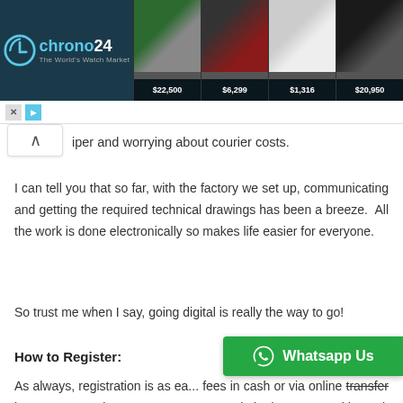[Figure (screenshot): Chrono24 advertisement banner showing watch marketplace with logo and four watches priced at $22,500, $6,299, $1,316, and $20,950]
iper and worrying about courier costs.
I can tell you that so far, with the factory we set up, communicating and getting the required technical drawings has been a breeze.  All the work is done electronically so makes life easier for everyone.
So trust me when I say, going digital is really the way to go!
How to Register:
As always, registration is as ea... fees in cash or via online transfer into our GTBank account, Martwayne Limited at any Zenith Bank branch
[Figure (other): WhatsApp Us green button with WhatsApp logo icon]